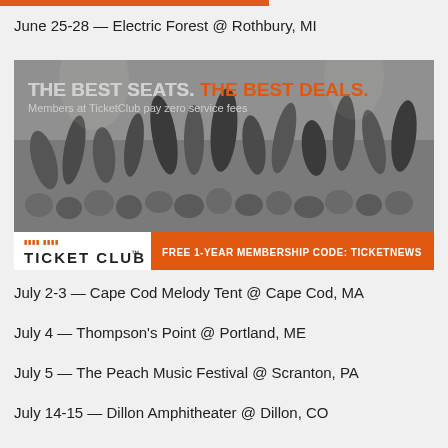June 25-28 — Electric Forest @ Rothbury, MI
[Figure (infographic): TicketClub advertisement banner. Black and white crowd photo background with text overlay 'THE BEST SEATS. THE BEST DEALS.' (BEST DEALS in orange). Subtitle: 'Members at TicketClub pay zero service fees'. Footer bar with TicketClub logo on left and orange strip reading 'FREE 1-YEAR MEMBERSHIP CODE: TICKETNEWS' on right.]
July 2-3 — Cape Cod Melody Tent @ Cape Cod, MA
July 4 — Thompson's Point @ Portland, ME
July 5 — The Peach Music Festival @ Scranton, PA
July 14-15 — Dillon Amphitheater @ Dillon, CO